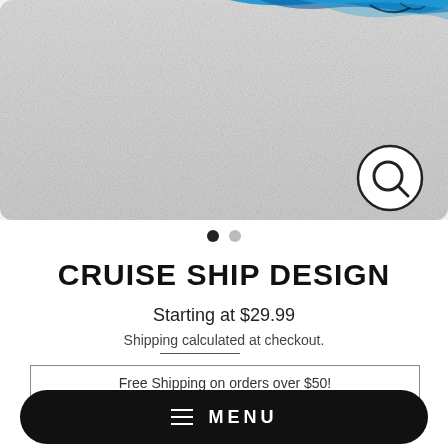[Figure (photo): Product image of cruise ship design — partial view showing grey/silver surface with blue paint strokes and a magnifying glass search icon in the lower right corner. Carousel navigation dots below the image.]
CRUISE SHIP DESIGN
Starting at $29.99
Shipping calculated at checkout.
Free Shipping on orders over $50!
MENU